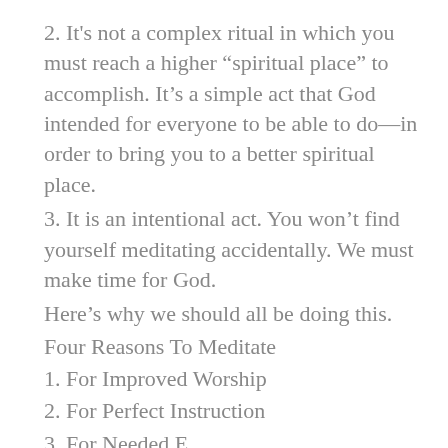2. It's not a complex ritual in which you must reach a higher “spiritual place” to accomplish. It’s a simple act that God intended for everyone to be able to do—in order to bring you to a better spiritual place.
3. It is an intentional act. You won’t find yourself meditating accidentally. We must make time for God.
Here’s why we should all be doing this.
Four Reasons To Meditate
1. For Improved Worship
2. For Perfect Instruction
3. For Needed E…